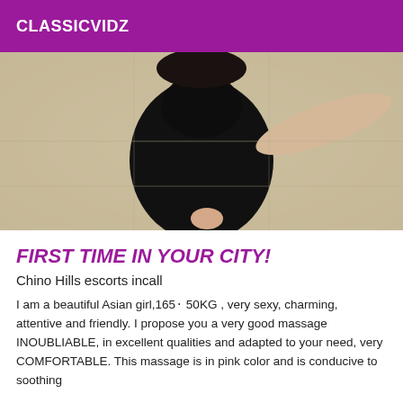CLASSICVIDZ
[Figure (photo): Overhead/top-down photo of a person wearing black clothing on a tiled floor, taken from above]
FIRST TIME IN YOUR CITY!
Chino Hills escorts incall
I am a beautiful Asian girl,165⬝ 50KG , very sexy, charming, attentive and friendly. I propose you a very good massage INOUBLIABLE, in excellent qualities and adapted to your need, very COMFORTABLE. This massage is in pink color and is conducive to soothing